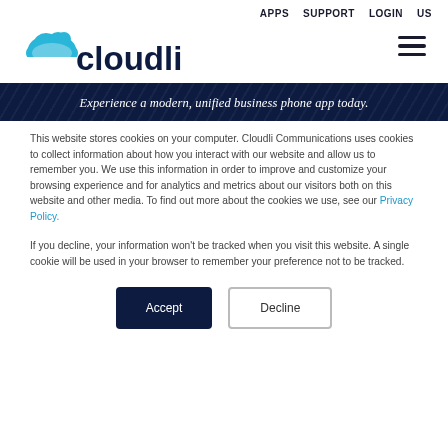APPS  SUPPORT  LOGIN  US
[Figure (logo): Cloudli logo with cloud icon and company name in dark navy text]
Experience a modern, unified business phone app today.
This website stores cookies on your computer. Cloudli Communications uses cookies to collect information about how you interact with our website and allow us to remember you. We use this information in order to improve and customize your browsing experience and for analytics and metrics about our visitors both on this website and other media. To find out more about the cookies we use, see our Privacy Policy.
If you decline, your information won't be tracked when you visit this website. A single cookie will be used in your browser to remember your preference not to be tracked.
Accept  Decline